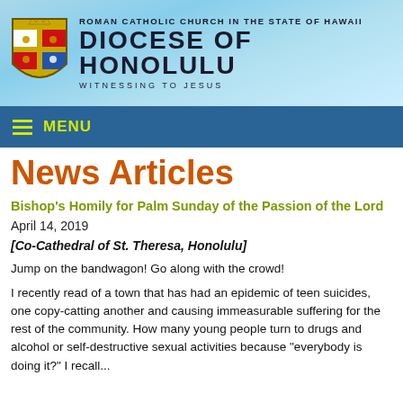[Figure (logo): Diocese of Honolulu logo with shield/crest and text: ROMAN CATHOLIC CHURCH IN THE STATE OF HAWAII, DIOCESE OF HONOLULU, WITNESSING TO JESUS, on a light blue water background]
MENU
News Articles
Bishop's Homily for Palm Sunday of the Passion of the Lord
April 14, 2019
[Co-Cathedral of St. Theresa, Honolulu]
Jump on the bandwagon!  Go along with the crowd!
I recently read of a town that has had an epidemic of teen suicides, one copy-catting another and causing immeasurable suffering for the rest of the community.  How many young people turn to drugs and alcohol or self-destructive sexual activities because "everybody is doing it?" I recall...